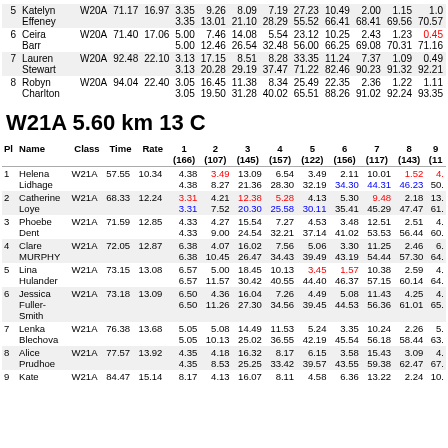| Pl | Name | Class | Time | Rate | 1(166) | 2(107) | 3(145) | 4(157) | 5(122) | 6(156) | 7(117) | 8(143) | 9(11x) |
| --- | --- | --- | --- | --- | --- | --- | --- | --- | --- | --- | --- | --- | --- |
| 5 | Katelyn Effeney | W20A | 71.17 | 16.97 | 3.35 / 3.35 | 9.26 / 13.01 | 8.09 / 21.10 | 7.19 / 28.29 | 27.23 / 55.52 | 10.49 / 66.41 | 2.00 / 68.41 | 1.15 / 69.56 | 1.0... / 70.57 |
| 6 | Ceira Barr | W20A | 71.40 | 17.06 | 5.00 / 5.00 | 7.46 / 12.46 | 14.08 / 26.54 | 5.54 / 32.48 | 23.12 / 56.00 | 10.25 / 66.25 | 2.43 / 69.08 | 1.23 / 70.31 | 0.45 / 71.16 |
| 7 | Lauren Stewart | W20A | 92.48 | 22.10 | 3.13 / 3.13 | 17.15 / 20.28 | 8.51 / 29.19 | 8.28 / 37.47 | 33.35 / 71.22 | 11.24 / 82.46 | 7.37 / 90.23 | 1.09 / 91.32 | 0.49 / 92.21 |
| 8 | Robyn Charlton | W20A | 94.04 | 22.40 | 3.05 / 3.05 | 16.45 / 19.50 | 11.38 / 31.28 | 8.34 / 40.02 | 25.49 / 65.51 | 22.35 / 88.26 | 2.36 / 91.02 | 1.22 / 92.24 | 1.11 / 93.35 |
W21A 5.60 km 13 C
| Pl | Name | Class | Time | Rate | 1(166) | 2(107) | 3(145) | 4(157) | 5(122) | 6(156) | 7(117) | 8(143) | 9(11x) |
| --- | --- | --- | --- | --- | --- | --- | --- | --- | --- | --- | --- | --- | --- |
| 1 | Helena Lidhage | W21A | 57.55 | 10.34 | 4.38 / 4.38 | 3.49 / 8.27 | 13.09 / 21.36 | 6.54 / 28.30 | 3.49 / 32.19 | 2.11 / 34.30 | 10.01 / 44.31 | 1.52 / 46.23 | 4... / 50... |
| 2 | Catherine Loye | W21A | 68.33 | 12.24 | 3.31 / 3.31 | 4.21 / 7.52 | 12.38 / 20.30 | 5.28 / 25.58 | 4.13 / 30.11 | 5.30 / 35.41 | 9.48 / 45.29 | 2.18 / 47.47 | 13... / 61... |
| 3 | Phoebe Dent | W21A | 71.59 | 12.85 | 4.33 / 4.33 | 4.27 / 9.00 | 15.54 / 24.54 | 7.27 / 32.21 | 4.53 / 37.14 | 3.48 / 41.02 | 12.51 / 53.53 | 2.51 / 56.44 | 4... / 60... |
| 4 | Clare MURPHY | W21A | 72.05 | 12.87 | 6.38 / 6.38 | 4.07 / 10.45 | 16.02 / 26.47 | 7.56 / 34.43 | 5.06 / 39.49 | 3.30 / 43.19 | 11.25 / 54.44 | 2.46 / 57.30 | 6... / 64... |
| 5 | Lina Hulander | W21A | 73.15 | 13.08 | 6.57 / 6.57 | 5.00 / 11.57 | 18.45 / 30.42 | 10.13 / 40.55 | 3.45 / 44.40 | 1.57 / 46.37 | 10.38 / 57.15 | 2.59 / 60.14 | 4... / 64... |
| 6 | Jessica Fuller-Smith | W21A | 73.18 | 13.09 | 6.50 / 6.50 | 4.36 / 11.26 | 16.04 / 27.30 | 7.26 / 34.56 | 4.49 / 39.45 | 5.08 / 44.53 | 11.43 / 56.36 | 4.25 / 61.01 | 4... / 65... |
| 7 | Lenka Blechova | W21A | 76.38 | 13.68 | 5.05 / 5.05 | 5.08 / 10.13 | 14.49 / 25.02 | 11.53 / 36.55 | 5.24 / 42.19 | 3.35 / 45.54 | 10.24 / 56.18 | 2.26 / 58.44 | 5... / 63... |
| 8 | Alice Prudhoe | W21A | 77.57 | 13.92 | 4.35 / 4.35 | 4.18 / 8.53 | 16.32 / 25.25 | 8.17 / 33.42 | 6.15 / 39.57 | 3.58 / 43.55 | 15.43 / 59.38 | 3.09 / 62.47 | 4... / 67... |
| 9 | Kate | W21A | 84.47 | 15.14 | 8.17 | 4.13 | 16.07 | 8.11 | 4.58 | 6.36 | 13.22 | 2.24 | 10... |